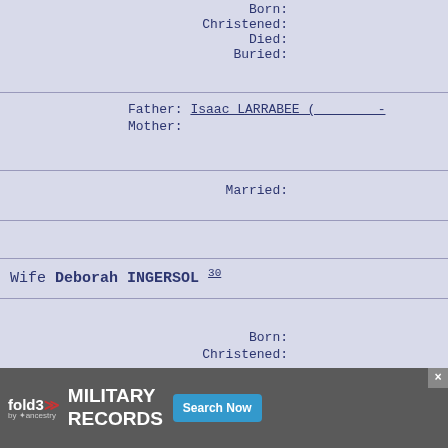Born:
Christened:
Died:
Buried:
Father: Isaac LARRABEE (______-
Mother:
Married:
Wife Deborah INGERSOL 30
Born:
Christened:
[Figure (other): fold3 Military Records advertisement banner at bottom of page]